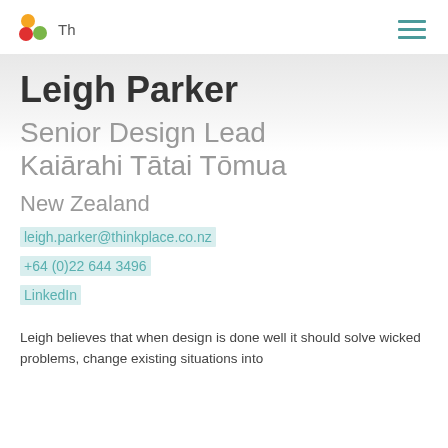Th
Leigh Parker
Senior Design Lead
Kaiārahi Tātai Tōmua
New Zealand
leigh.parker@thinkplace.co.nz
+64 (0)22 644 3496
LinkedIn
Leigh believes that when design is done well it should solve wicked problems, change existing situations into